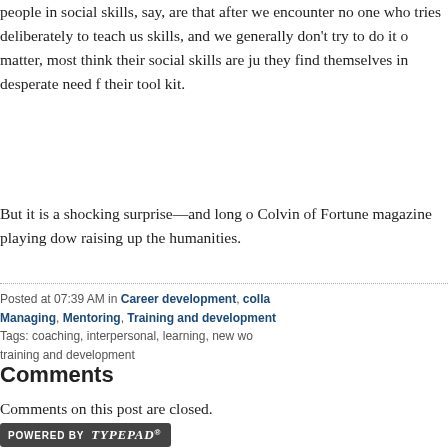people in social skills, say, are that after we encounter no one who tries deliberately to teach us skills, and we generally don't try to do it ourselves. To matter, most think their social skills are just fine—until they find themselves in desperate need for another tool in their tool kit.
But it is a shocking surprise—and long overdue—to see Colvin of Fortune magazine playing down the STEM and raising up the humanities.
Posted at 07:39 AM in Career development, collaboration, Managing, Mentoring, Training and development | Tags: coaching, interpersonal, learning, new work, training and development
Comments
Comments on this post are closed.
[Figure (logo): Powered by TypePad badge/button]